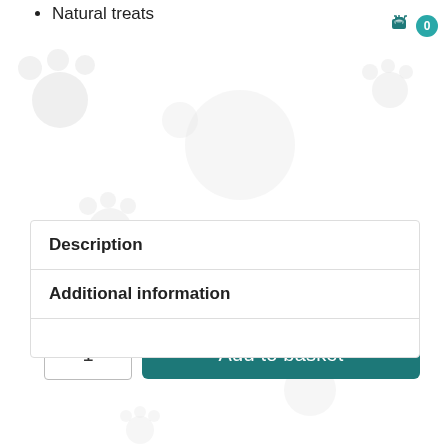Natural treats
In stock
1  Add to basket
SKU: HlingTTCh75 Categories: Dogs, Natural Dog Treats, Natural Dog Training Treats
Description
Additional information